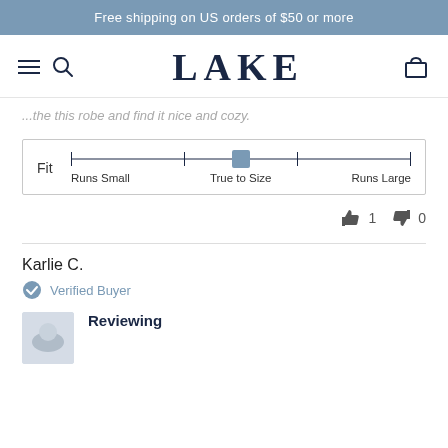Free shipping on US orders of $50 or more
[Figure (screenshot): LAKE brand navigation bar with hamburger menu, search icon, LAKE logo, and cart icon]
...the this robe and find it nice and cozy.
[Figure (infographic): Fit slider showing position at True to Size, with labels Runs Small, True to Size, Runs Large]
👍 1  👎 0
Karlie C.
Verified Buyer
Reviewing